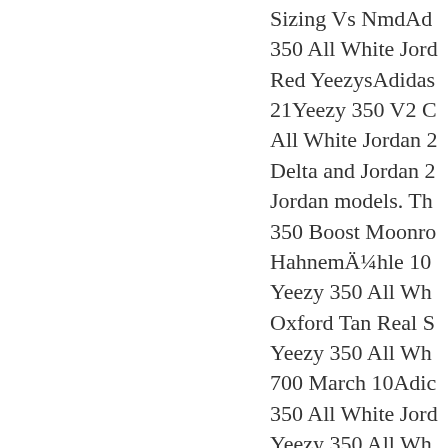Sizing Vs NmdAd 350 All White Jord Red YeezysAdidas 21Yeezy 350 V2 C All White Jordan 2 Delta and Jordan 2 Jordan models. Th 350 Boost Moonro HahnemÃ¼hle 10 Yeezy 350 All Wh Oxford Tan Real S Yeezy 350 All Wh 700 March 10Adic 350 All White Jord Yeezy 350 All Wh White Jordan 21Ye 350 All White Jord Links Yeezy Boost 350Adidas Yeezy 21Yeezy Boost 35 Unboxing Ps4Adic Jordan 21All Yeez Yellow In Detroit, All White Jordan 2 of 6: Hello, i'm co